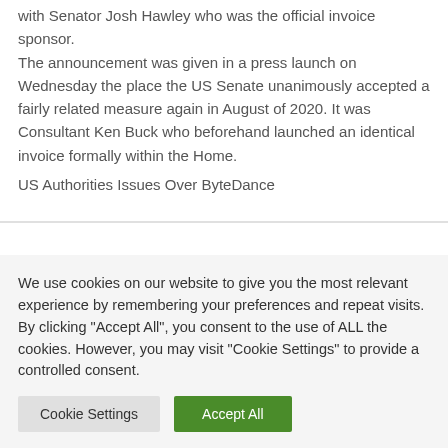with Senator Josh Hawley who was the official invoice sponsor. The announcement was given in a press launch on Wednesday the place the US Senate unanimously accepted a fairly related measure again in August of 2020. It was Consultant Ken Buck who beforehand launched an identical invoice formally within the Home.
US Authorities Issues Over ByteDance
We use cookies on our website to give you the most relevant experience by remembering your preferences and repeat visits. By clicking "Accept All", you consent to the use of ALL the cookies. However, you may visit "Cookie Settings" to provide a controlled consent.